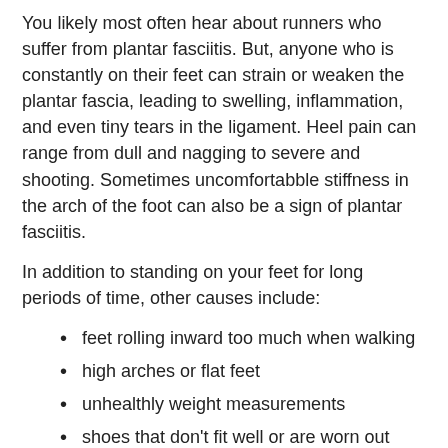You likely most often hear about runners who suffer from plantar fasciitis. But, anyone who is constantly on their feet can strain or weaken the plantar fascia, leading to swelling, inflammation, and even tiny tears in the ligament. Heel pain can range from dull and nagging to severe and shooting. Sometimes uncomfortabble stiffness in the arch of the foot can also be a sign of plantar fasciitis.
In addition to standing on your feet for long periods of time, other causes include:
feet rolling inward too much when walking
high arches or flat feet
unhealthly weight measurements
shoes that don't fit well or are worn out
If you are suffering from this type of pain, don't suffer through it. Make an appointment with an orthopedist. Treatments may include:
resting your feet, and cutting back on strenuous activities, especially on hard surfaces
icing your heels